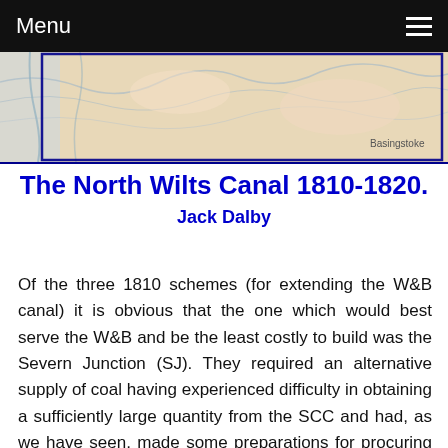Menu
[Figure (map): Partial map image showing a region including Basingstoke, with soft peach and blue tones and a blue border at the bottom.]
The North Wilts Canal 1810-1820. Jack Dalby
Of the three 1810 schemes (for extending the W&B canal) it is obvious that the one which would best serve the W&B and be the least costly to build was the Severn Junction (SJ). They required an alternative supply of coal having experienced difficulty in obtaining a sufficiently large quantity from the SCC and had, as we have seen, made some preparations for procuring this from the Forest of Dean. There were two possible routes